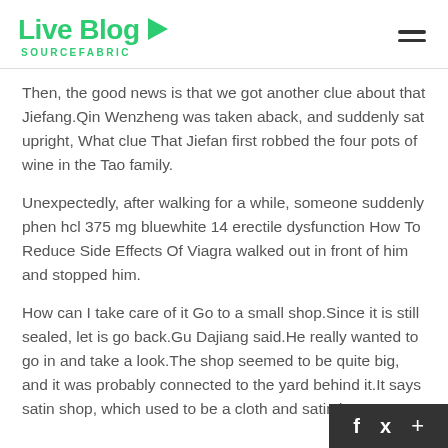Live Blog SOURCEFABRIC
Then, the good news is that we got another clue about that Jiefang.Qin Wenzheng was taken aback, and suddenly sat upright, What clue That Jiefan first robbed the four pots of wine in the Tao family.
Unexpectedly, after walking for a while, someone suddenly phen hcl 375 mg bluewhite 14 erectile dysfunction How To Reduce Side Effects Of Viagra walked out in front of him and stopped him.
How can I take care of it Go to a small shop.Since it is still sealed, let is go back.Gu Dajiang said.He really wanted to go in and take a look.The shop seemed to be quite big, and it was probably connected to the yard behind it.It says satin shop, which used to be a cloth and satin bu